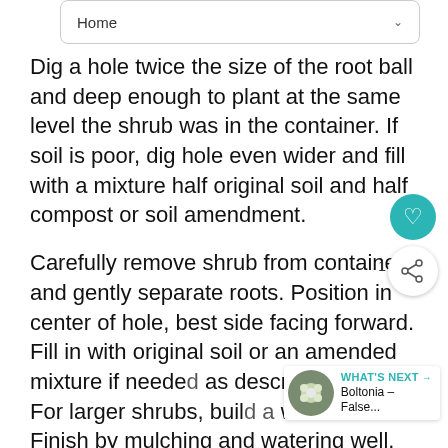Home
Dig a hole twice the size of the root ball and deep enough to plant at the same level the shrub was in the container. If soil is poor, dig hole even wider and fill with a mixture half original soil and half compost or soil amendment.
Carefully remove shrub from container and gently separate roots. Position in center of hole, best side facing forward. Fill in with original soil or an amended mixture if needed as described above. For larger shrubs, build a water well. Finish by mulching and watering well.
If the plant is balled and burlapped, remove